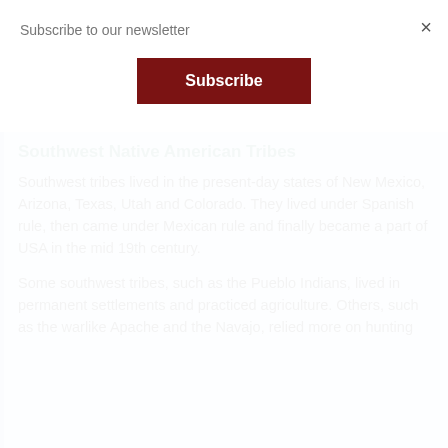Subscribe to our newsletter
Subscribe
×
Southwest Native American Tribes
Southwest tribes lived in the present-day states of New Mexico, Arizona, Texas, Utah and Colorado. They lived under Spanish rule, then came under Mexican rule and finally became a part of USA in the mid 19th century.
Some southwest tribes, such as the Pueblo Indians, lived in permanent settlements and practiced agriculture. Others, such as the warlike Apache and the Navajo, relied more on hunting